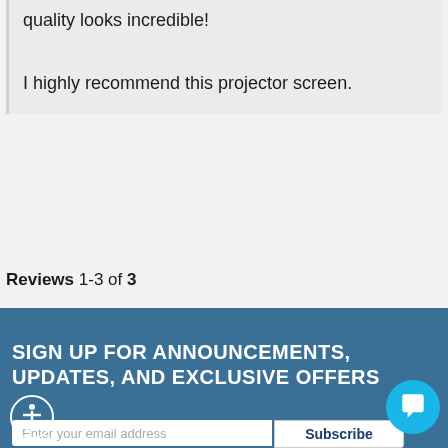quality looks incredible!
I highly recommend this projector screen.
Reviews 1-3 of 3
SIGN UP FOR ANNOUNCEMENTS, UPDATES, AND EXCLUSIVE OFFERS
Enter your email address
Subscribe